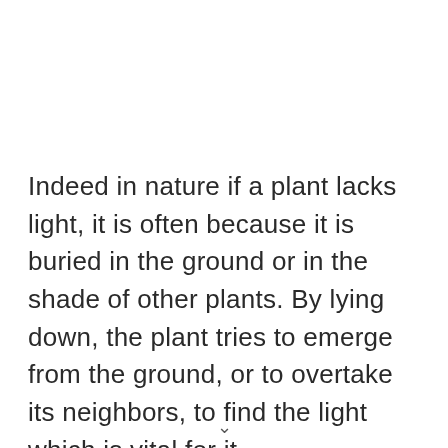Indeed in nature if a plant lacks light, it is often because it is buried in the ground or in the shade of other plants. By lying down, the plant tries to emerge from the ground, or to overtake its neighbors, to find the light which is vital for it.